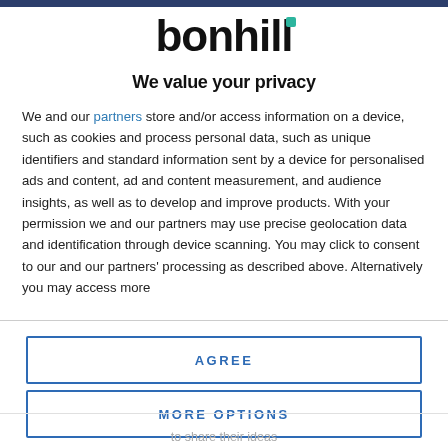[Figure (logo): Bonhill company logo with teal dot accent above the 'i']
We value your privacy
We and our partners store and/or access information on a device, such as cookies and process personal data, such as unique identifiers and standard information sent by a device for personalised ads and content, ad and content measurement, and audience insights, as well as to develop and improve products. With your permission we and our partners may use precise geolocation data and identification through device scanning. You may click to consent to our and our partners' processing as described above. Alternatively you may access more
AGREE
MORE OPTIONS
to share their ideas